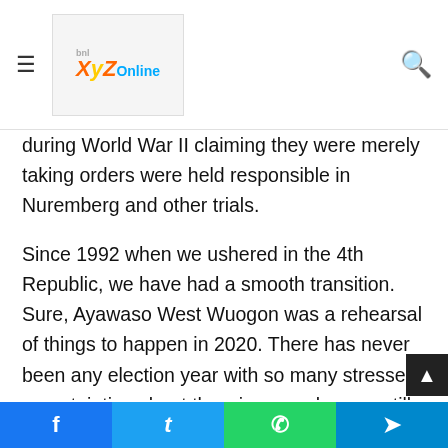XYZOnline — site logo, hamburger menu, search icon
during World War II claiming they were merely taking orders were held responsible in Nuremberg and other trials.
Since 1992 when we ushered in the 4th Republic, we have had a smooth transition. Sure, Ayawaso West Wuogon was a rehearsal of things to happen in 2020. There has never been any election year with so many stresses, uncertainties about the winner and worse still, killing of innocent people as young as ages 14 and 18. For the very first time since 1992 eight of our citizens have been gunned down in election-related violence. We pray for repose of the souls of the defenceless innocent gunned down. Let us have hope for a return to a sense of true constitutionalism because all shall pass, and
Facebook | Twitter | WhatsApp | Telegram sharing buttons